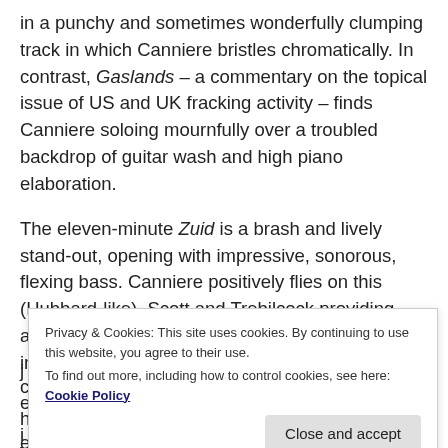in a punchy and sometimes wonderfully clumping track in which Canniere bristles chromatically. In contrast, Gaslands – a commentary on the topical issue of US and UK fracking activity – finds Canniere soloing mournfully over a troubled backdrop of guitar wash and high piano elaboration.
The eleven-minute Zuid is a brash and lively stand-out, opening with impressive, sonorous, flexing bass. Canniere positively flies on this (Hubbard-like), Scott and Trebilcock providing and maintaining its fabulous motion which intentionally suggests memories of train j... c... e...
Privacy & Cookies: This site uses cookies. By continuing to use this website, you agree to their use. To find out more, including how to control cookies, see here: Cookie Policy
evidently at the top of his game.